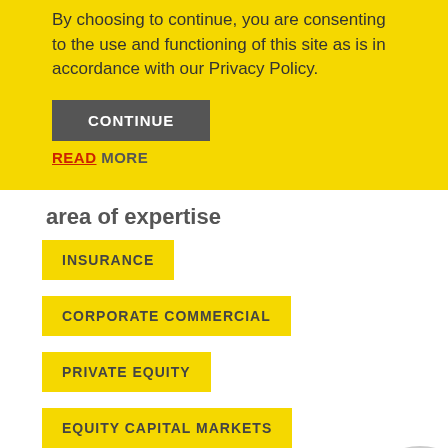By choosing to continue, you are consenting to the use and functioning of this site as is in accordance with our Privacy Policy.
CONTINUE
READ MORE
area of expertise
INSURANCE
CORPORATE COMMERCIAL
PRIVATE EQUITY
EQUITY CAPITAL MARKETS
qualifications
BBusSc (Hons) (University of Cape